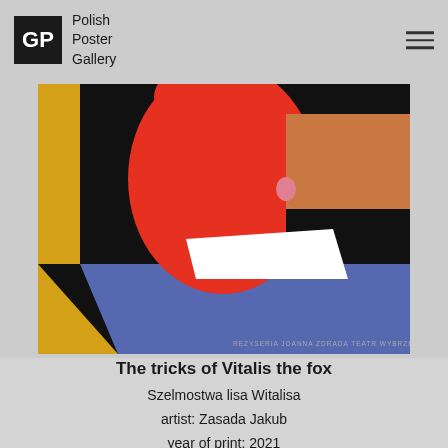Polish Poster Gallery
[Figure (illustration): Polish theater poster artwork for 'The tricks of Vitalis the fox' - showing an abstract figure with red hair/body, orange and black geometric blocks, a white triangular shape, and a blue/yellow lower section. Small text reads 'REŻYSERIA JOANNA ZDRADA  TEATR WYBRZEŻE']
The tricks of Vitalis the fox
Szelmostwa lisa Witalisa
artist: Zasada Jakub
year of print: 2021
price: EUR 20